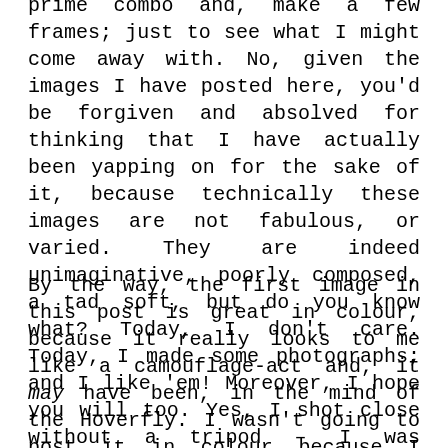prime combo and, make a few frames; just to see what I might come away with. No, given the images I have posted here, you'd be forgiven and absolved for thinking that I have actually been yapping on for the sake of it, because technically these images are not fabulous, or varied. They are indeed unimaginative, poorly composed, a tad soft, but do you know what? Today, I don't care. Today, I made some photographs; and I like 'em! Moreover, I hope you will too. Yes, I shot close without a tripod – I was chilling!
By the way, the first image in this post is great in colour, because it really looks to me like a camouflage-act and, it may have been, in the mind of the Hoverfly. I wasn't going to post it in colour because I really do prefer the mono-shot